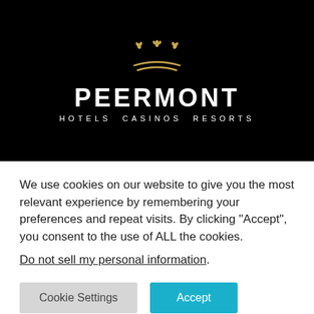[Figure (logo): Peermont Hotels Casinos Resorts logo with golden crown on black background, white bold text PEERMONT and subtitle HOTELS CASINOS RESORTS]
We use cookies on our website to give you the most relevant experience by remembering your preferences and repeat visits. By clicking “Accept”, you consent to the use of ALL the cookies.
Do not sell my personal information.
Cookie Settings
Accept